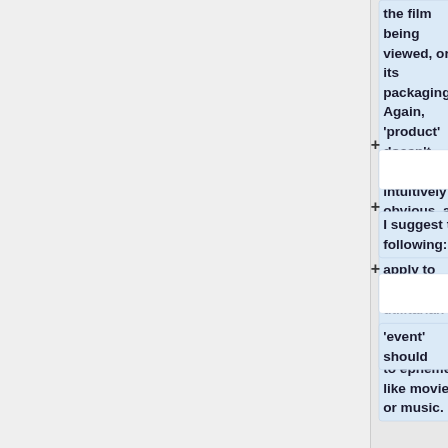the film being viewed, or its packaging? Again, 'product' doesn't seem intuitively obvious, as it would seem to apply to more utilitarian objects, rather than to ephemera like movies or music.
I suggest the following:
'event' should